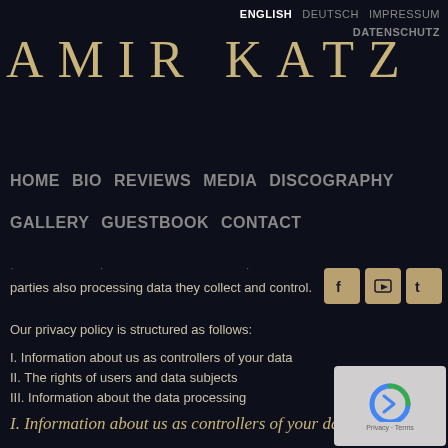ENGLISH  DEUTSCH  IMPRESSUM  DATENSCHUTZ
AMIR KATZ
HOME  BIO  REVIEWS  MEDIA  DISCOGRAPHY  GALLERY  GUESTBOOK  CONTACT
parties also processing data they collect and control.
Our privacy policy is structured as follows:
I. Information about us as controllers of your data
II. The rights of users and data subjects
III. Information about the data processing
I. Information about us as controllers of your data
The party responsible for this website (the “controller”) for purposes of data protection law is:
Andreas Wimmer
Maria-Theresien-Straße 9
A-1090 Wien